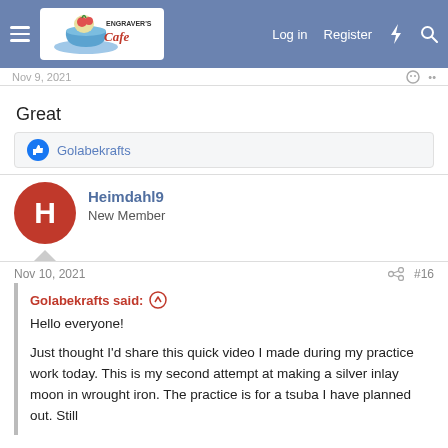Engraver's Cafe — Log in  Register
Great
Golabekrafts
Heimdahl9
New Member
Nov 10, 2021    #16
Golabekrafts said:
Hello everyone!

Just thought I'd share this quick video I made during my practice work today. This is my second attempt at making a silver inlay moon in wrought iron. The practice is for a tsuba I have planned out. Still